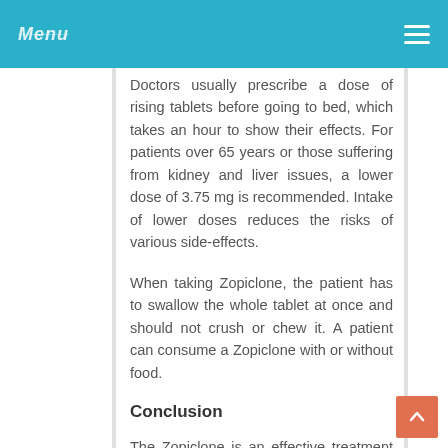Menu
Doctors usually prescribe a dose of rising tablets before going to bed, which takes an hour to show their effects. For patients over 65 years or those suffering from kidney and liver issues, a lower dose of 3.75 mg is recommended. Intake of lower doses reduces the risks of various side-effects.
When taking Zopiclone, the patient has to swallow the whole tablet at once and should not crush or chew it. A patient can consume a Zopiclone with or without food.
Conclusion
The Zopiclone is an effective treatment for insomnia, but anything taken more than it is needed will have reactions either immediately or the long term, so always use them as directed.